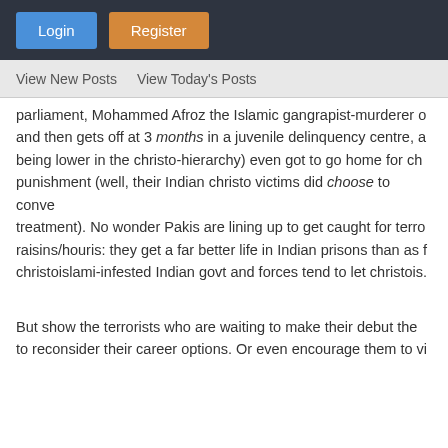Login | Register
View New Posts  View Today's Posts
parliament, Mohammed Afroz the Islamic gangrapist-murderer of and then gets off at 3 months in a juvenile delinquency centre, a being lower in the christo-hierarchy) even got to go home for ch punishment (well, their Indian christo victims did choose to conve treatment). No wonder Pakis are lining up to get caught for terro raisins/houris: they get a far better life in Indian prisons than as f christoislami-infested Indian govt and forces tend to let christois.
But show the terrorists who are waiting to make their debut the to reconsider their career options. Or even encourage them to vi
ADDED: